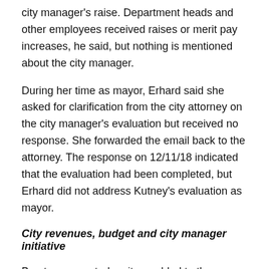city manager's raise. Department heads and other employees received raises or merit pay increases, he said, but nothing is mentioned about the city manager.
During her time as mayor, Erhard said she asked for clarification from the city attorney on the city manager's evaluation but received no response. She forwarded the email back to the attorney. The response on 12/11/18 indicated that the evaluation had been completed, but Erhard did not address Kutney's evaluation as mayor.
City revenues, budget and city manager initiative
Brayton requested an item added to the 01/28/19 workshop – revenue sources. With the planned projects and budget allocations for the next fiscal year, Brayton said a frank discussion is in order.  Kemerer said this was planned as part of the discussion on asset management. February: